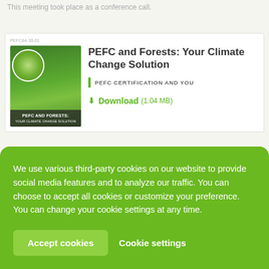This meeting took place as a conference call.
PEFC64-30-01
[Figure (illustration): Book cover thumbnail showing a large tree with green foliage and a protest circle image inset, with text overlay 'PEFC AND FORESTS:' at the bottom]
PEFC and Forests: Your Climate Change Solution
PEFC CERTIFICATION AND YOU
Download (1.04 MB)
We use various third-party cookies on our website to provide social media features and to analyze our traffic. You can choose to accept all cookies or customize your preference. You can change your cookie settings at any time.